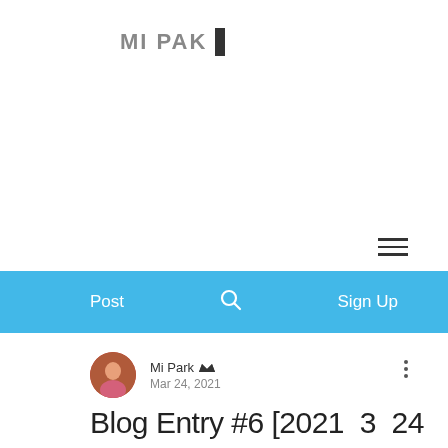MI PAK
[Figure (screenshot): Navigation bar with Post, search icon, and Sign Up links on a light blue background]
Mi Park   Mar 24, 2021
Blog Entry #6 [2021  3  24
]